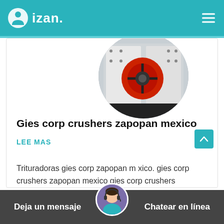izan.
[Figure (photo): Circular cropped photo of an industrial crusher machine with a red flywheel, white body, and dark background.]
Gies corp crushers zapopan mexico
Trituradoras gies corp zapopan m xico. gies corp crushers zapopan mexico gies corp crushers zapopan mexico cpy manufacturers negro piedra…
LEE MAS
[Figure (photo): Circular avatar photo of a woman wearing a headset, used as a chat support icon.]
Deja un mensaje   Chatear en línea